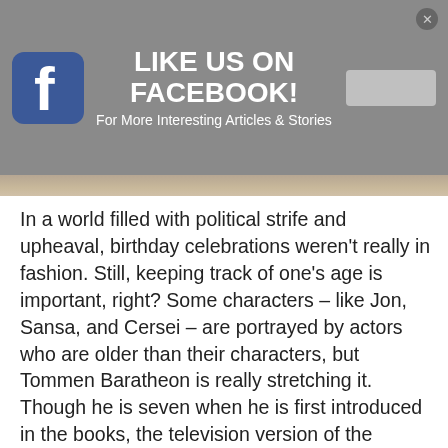[Figure (screenshot): Facebook 'Like Us On Facebook!' promotional banner with Facebook icon on left, bold white text 'LIKE US ON FACEBOOK!' in center, subtitle 'For More Interesting Articles & Stories', a gray button on the right, and a close button (x) in top-right corner. Background is gray.]
[Figure (photo): Partial bottom edge of a photo showing a textured brown/tan fabric or carpet surface.]
In a world filled with political strife and upheaval, birthday celebrations weren't really in fashion. Still, keeping track of one's age is important, right? Some characters – like Jon, Sansa, and Cersei – are portrayed by actors who are older than their characters, but Tommen Baratheon is really stretching it. Though he is seven when he is first introduced in the books, the television version of the character was portrayed by nineteen-year-old Dean-Charles Chapman. The guy even had to talk in a high-pitched